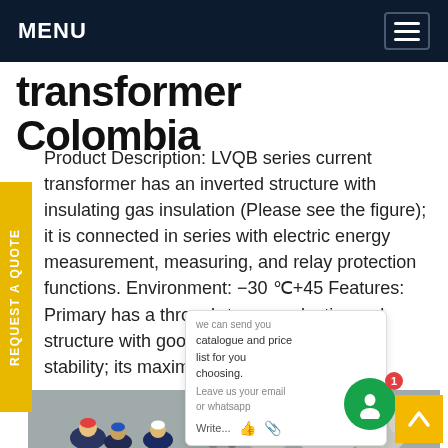MENU
transformer Colombia
Product Description: LVQB series current transformer has an inverted structure with insulating gas insulation (Please see the figure); it is connected in series with electric energy measurement, measuring, and relay protection functions. Environment: -30 ℃+45 Features: Primary has a through-type conducting rod structure with good dynamic and thermal stability; its maximum Get price
[Figure (photo): Workers in hard hats and safety gear working on large industrial electrical transformer equipment outdoors.]